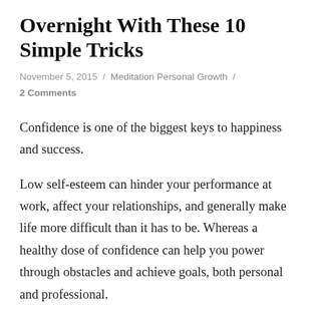Overnight With These 10 Simple Tricks
November 5, 2015  /  Meditation Personal Growth  /  2 Comments
Confidence is one of the biggest keys to happiness and success.
Low self-esteem can hinder your performance at work, affect your relationships, and generally make life more difficult than it has to be. Whereas a healthy dose of confidence can help you power through obstacles and achieve goals, both personal and professional.
If you are someone who occasionally struggles